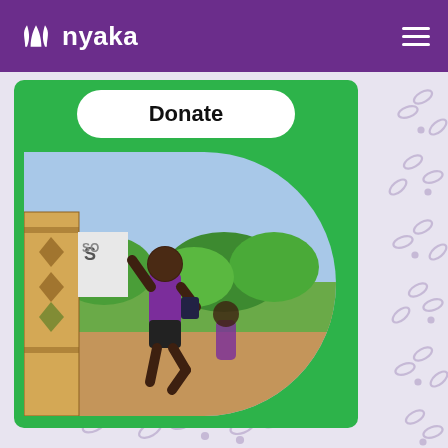nyaka
Donate
[Figure (photo): Child in purple shirt running and waving on a dirt path near a school gate, with trees and green landscape in background. Photo has a D-shape cut on the right side. Displayed on a green card background.]